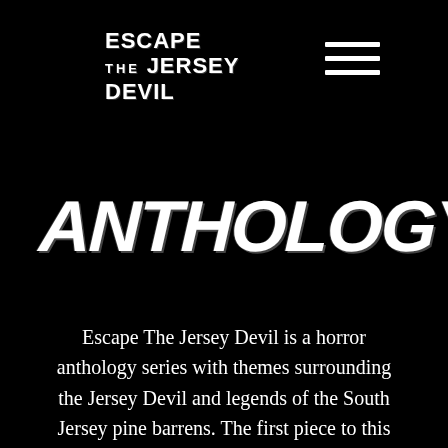[Figure (logo): Escape The Jersey Devil logo in white horror-style lettering on black background]
[Figure (other): Hamburger menu icon — three horizontal white lines]
ANTHOLOGY
Escape The Jersey Devil is a horror anthology series with themes surrounding the Jersey Devil and legends of the South Jersey pine barrens. The first piece to this series is Devil's Due, spinoff of Billy's Cult, the 2013 feature film and winner of the Buffalo Screams Festival, Nevada International Film